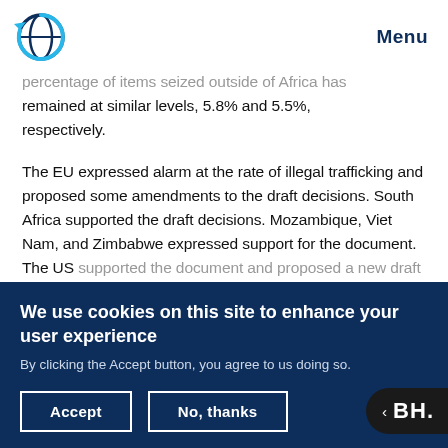Menu
percentage of items seized outside of Africa has remained at similar levels, 5.8% and 5.5%, respectively.
The EU expressed alarm at the rate of illegal trafficking and proposed some amendments to the draft decisions. South Africa supported the draft decisions. Mozambique, Viet Nam, and Zimbabwe expressed support for the document. The US supported the document and proposed a new draft
We use cookies on this site to enhance your user experience
By clicking the Accept button, you agree to us doing so.